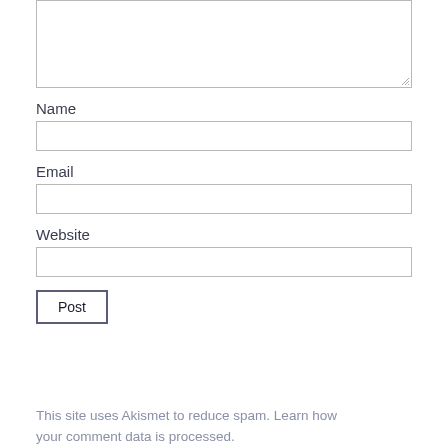[Figure (screenshot): Textarea input box (comment field) with resize handle at bottom right]
Name
[Figure (screenshot): Name input text field]
Email
[Figure (screenshot): Email input text field]
Website
[Figure (screenshot): Website input text field]
[Figure (screenshot): Post comment submit button]
This site uses Akismet to reduce spam. Learn how your comment data is processed.